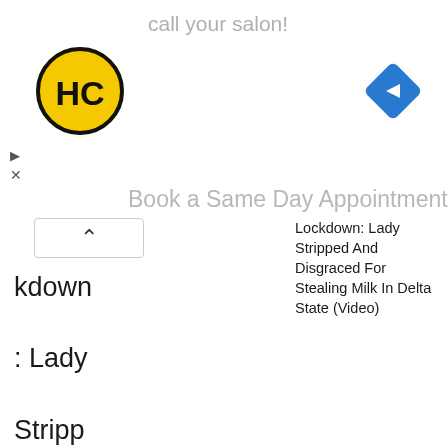[Figure (screenshot): Screenshot of a webpage showing an advertisement banner with 'call your salon!' text, an HC logo (yellow circle with HC in black), a blue navigation diamond icon, a 'Book a Same Day Appointment' heading, and a collapsed navigation element with a chevron. Below is a headline reading 'Lockdown: Lady Stripped And Disgraced For Stealing Milk In Delta State (Video)' and left-side text showing the same headline broken across lines: 'kdown : Lady Stripp ed And Disgra ced For Stealin g Milk In'.]